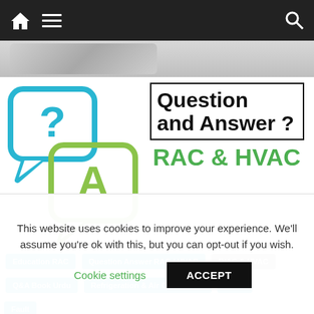Navigation bar with home, menu, and search icons
[Figure (illustration): Q&A speech bubble illustration: blue bubble with question mark, green bubble with letter A]
Question and Answer ?
RAC & HVAC
Education RAC
Question Answer RAC / HVAC
R/AC & HVAC
Q&A Book Urdu
Refrigeration & Air Conditioner
Solve
Fault
Gas Store, R600, Long Pipe, Question and Answer ?
This website uses cookies to improve your experience. We'll assume you're ok with this, but you can opt-out if you wish.
Cookie settings
ACCEPT